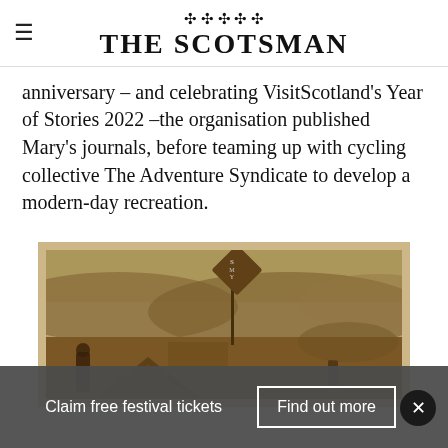THE SCOTSMAN
anniversary – and celebrating VisitScotland's Year of Stories 2022 –the organisation published Mary's journals, before teaming up with cycling collective The Adventure Syndicate to develop a modern-day recreation.
[Figure (photo): Sepia-toned historical photograph showing a roadside sign with a diamond-shaped warning marker, rolling hills in the background, and what appears to be a tent or camping scene in the foreground.]
Claim free festival tickets   Find out more